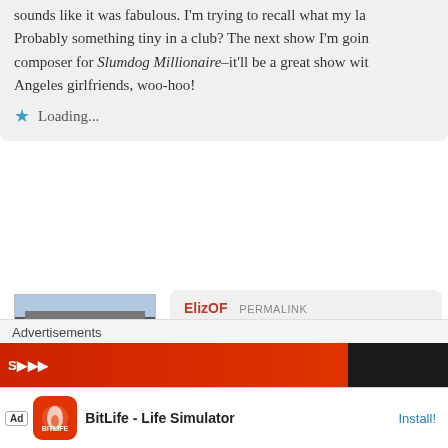sounds like it was fabulous. I'm trying to recall what my last show was. Probably something tiny in a club? The next show I'm going to see is the composer for Slumdog Millionaire–it'll be a great show with my Los Angeles girlfriends, woo-hoo!
Loading...
[Figure (photo): Avatar photo of a traditional Japanese red gate/building]
ElizOF  PERMALINK
27/06/2011 9:05 pm
Te he! I spent last night catching up on le... and other buddy blogs. I was turning in w... and I thought she was joking! TY. It was... you'll have a fab time at A.R.Rahman's s...
Loading...
Advertisements
Ad  BitLife - Life Simulator  Install!